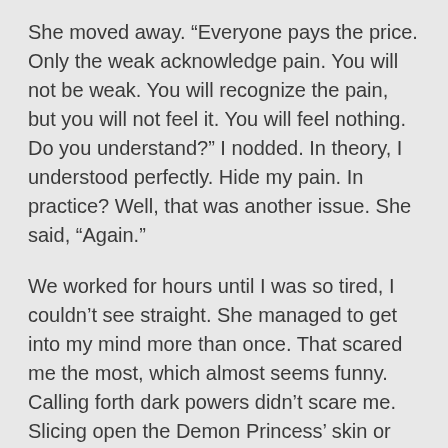She moved away. “Everyone pays the price. Only the weak acknowledge pain. You will not be weak. You will recognize the pain, but you will not feel it. You will feel nothing. Do you understand?” I nodded. In theory, I understood perfectly. Hide my pain. In practice? Well, that was another issue. She said, “Again.”
We worked for hours until I was so tired, I couldn’t see straight. She managed to get into my mind more than once. That scared me the most, which almost seems funny. Calling forth dark powers didn’t scare me. Slicing open the Demon Princess’ skin or scales or whatever she had didn’t faze me. But, the thought of her perusing my mind—the thought of her seeing bits of my shattered life was non-negotiable. It made me